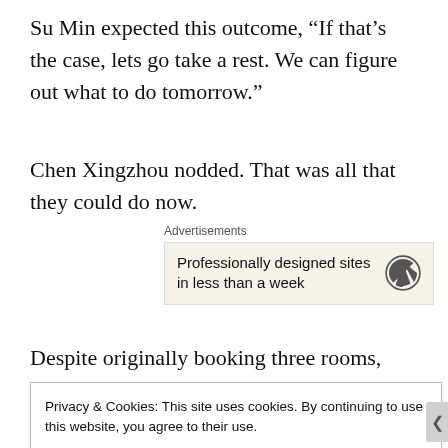Su Min expected this outcome, “If that’s the case, lets go take a rest. We can figure out what to do tomorrow.”
Chen Xingzhou nodded. That was all that they could do now.
[Figure (other): Advertisement block for WordPress: 'Professionally designed sites in less than a week' with WordPress logo]
Despite originally booking three rooms, they decided to use two rooms tonight.
Privacy & Cookies: This site uses cookies. By continuing to use this website, you agree to their use.
To find out more, including how to control cookies, see here: Cookie Policy

Close and accept